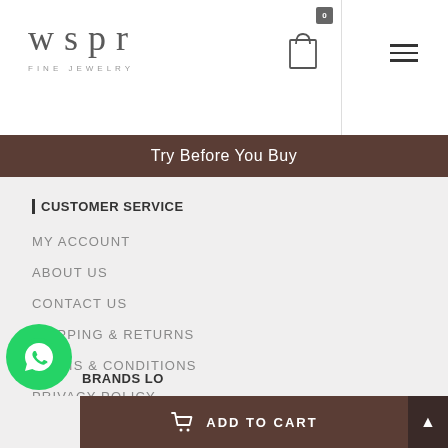wspr FINE JEWELRY
Try Before You Buy
CUSTOMER SERVICE
MY ACCOUNT
ABOUT US
CONTACT US
SHIPPING & RETURNS
TERMS & CONDITIONS
PRIVACY POLICY
FAQ
BRANDS LO
ADD TO CART